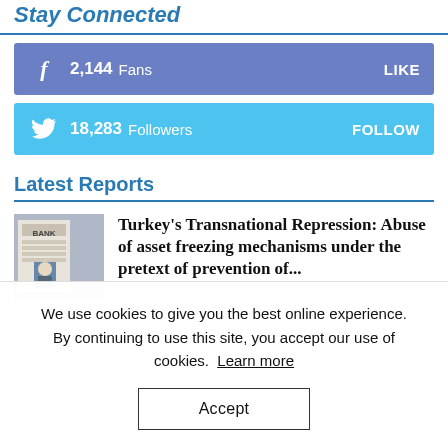Stay Connected
2,144  Fans   LIKE
18,283  Followers   FOLLOW
Latest Reports
Turkey's Transnational Repression: Abuse of asset freezing mechanisms under the pretext of prevention of...
We use cookies to give you the best online experience. By continuing to use this site, you accept our use of cookies. Learn more
Accept